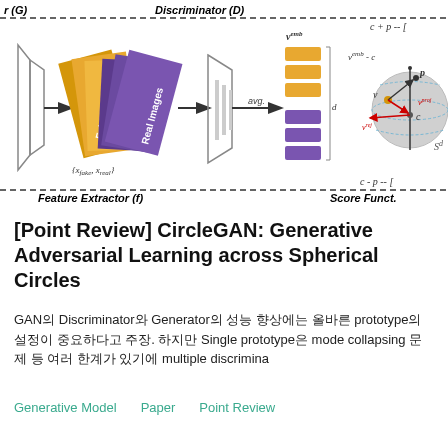[Figure (schematic): Architecture diagram of CircleGAN showing Generator (G) on the left with fake and real images fed into a Feature Extractor (f), then a Discriminator (D) with embedding vectors v^emb averaged into a d-dimensional vector, and a Score Function on the right showing a sphere with prototype point c, projection v^proj, rejection v^rej, and point p on sphere S^d.]
[Point Review] CircleGAN: Generative Adversarial Learning across Spherical Circles
GAN의 Discriminator와 Generator의 성능 향상에는 올바른 prototype의 설정이 중요하다고 주장. 하지만 Single prototype은 mode collapsing 문제 등 여러 한계가 있기에 multiple discrimina
Generative Model
Paper
Point Review